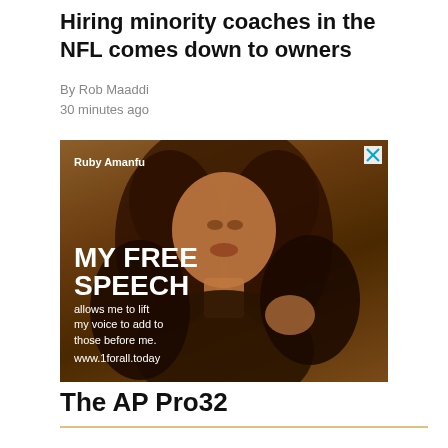Hiring minority coaches in the NFL comes down to owners
By Rob Maaddi
30 minutes ago
[Figure (photo): Advertisement showing Ruby Amanfu in a sepia-toned photo with the text 'MY FREE SPEECH allows me to lift my voice to add to those before me. www.1forall.today']
The AP Pro32